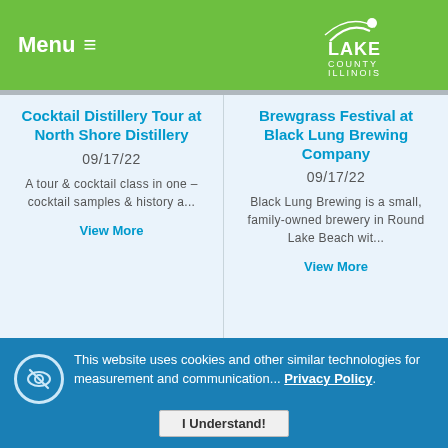Menu | Lake County Illinois
Cocktail Distillery Tour at North Shore Distillery
09/17/22
A tour & cocktail class in one – cocktail samples & history a...
View More
Brewgrass Festival at Black Lung Brewing Company
09/17/22
Black Lung Brewing is a small, family-owned brewery in Round Lake Beach wit...
View More
[Figure (photo): 2nd Annual $15 Self-Care Isn't Selfish Women's Health & Wellness Expo – Mind Body promotional image with purple background]
[Figure (photo): The Second City etc. Out of the... event promotional image with fireworks on dark background]
This website uses cookies and other similar technologies for measurement and communication... Privacy Policy. I Understand!